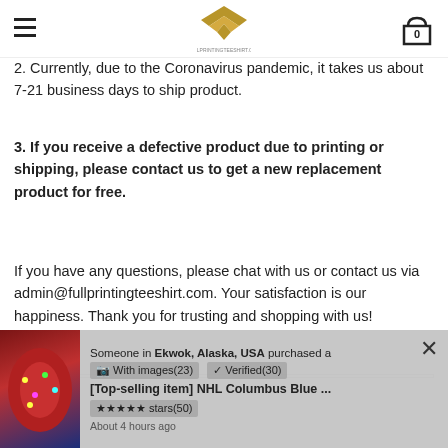Full Printing Tee Shirt - navigation header with logo and cart
2. Currently, due to the Coronavirus pandemic, it takes us about 7-21 business days to ship product.
3. If you receive a defective product due to printing or shipping, please contact us to get a new replacement product for free.
If you have any questions, please chat with us or contact us via admin@fullprintingteeshirt.com. Your satisfaction is our happiness. Thank you for trusting and shopping with us!
[Figure (screenshot): Popup notification showing someone in Ekwok, Alaska, USA purchased a [Top-selling item] NHL Columbus Blue ... with product image of a Christmas sweater, with options for With images(23), Verified(30), and stars(50) reviews section]